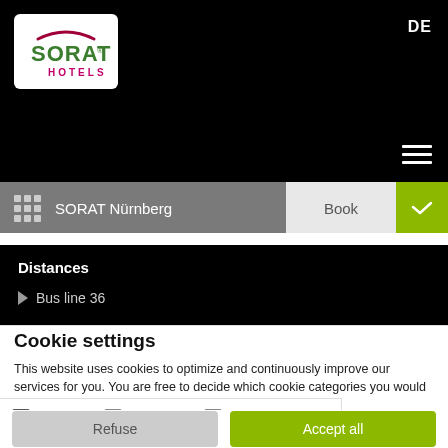[Figure (logo): SORAT Hotels logo — white rounded-rectangle containing green SORAT wordmark and red arch, HOTELS in pink below]
DE
SORAT Nürnberg
Book
Distances
Bus line 36
Cookie settings
This website uses cookies to optimize and continuously improve our services for you. You are free to decide which cookie categories you would like to permit. Please note that depending on the settings you choose, the full functionality of the website may no longer be available. Further information can be found in our privacy policy.
Necessary  Preferences  Statistics  Marketing  Show details
Refuse
Accept all